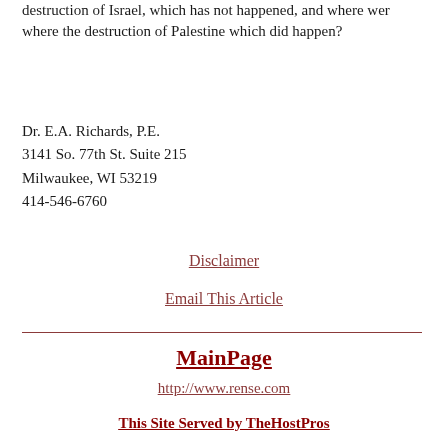destruction of Israel, which has not happened, and where were where the destruction of Palestine which did happen?
Dr. E.A. Richards, P.E.
3141 So. 77th St. Suite 215
Milwaukee, WI 53219
414-546-6760
Disclaimer
Email This Article
MainPage
http://www.rense.com
This Site Served by TheHostPros